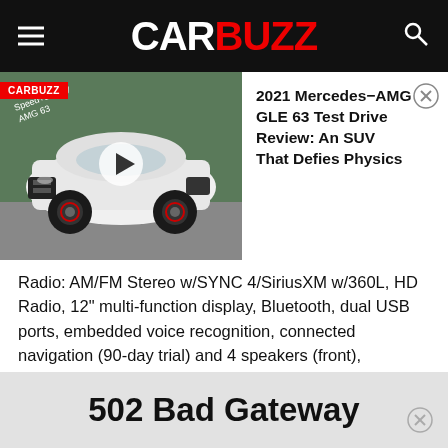CARBUZZ
[Figure (screenshot): CarBuzz video thumbnail showing white Mercedes-AMG GLE 63 SUV with play button overlay, CarBuzz badge and text overlay '2021 Mercedes-AMG GLE 63 Test Drive Review: An SUV That Defies Physics']
Radio: AM/FM Stereo w/SYNC 4/SiriusXM w/360L, HD Radio, 12" multi-function display, Bluetooth, dual USB ports, embedded voice recognition, connected navigation (90-day trial) and 4 speakers (front), SiriusXM w/360L includes a 3-month prepaid subscription, Electronic Air Temperature Control, Blind Spot Assist 1.0, Blind Spot Information System (BLIS) w/Cross-Traffic Alert and trailer coverage, Blind Spot Assist 1.0 combines Blind Spot
502 Bad Gateway